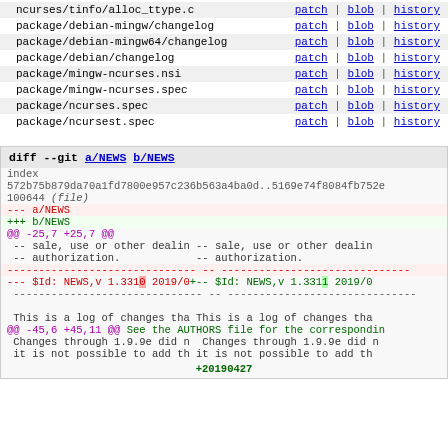| filename | links |
| --- | --- |
| ncurses/tinfo/alloc_ttype.c | patch | blob | history |
| package/debian-mingw/changelog | patch | blob | history |
| package/debian-mingw64/changelog | patch | blob | history |
| package/debian/changelog | patch | blob | history |
| package/mingw-ncurses.nsi | patch | blob | history |
| package/mingw-ncurses.spec | patch | blob | history |
| package/ncurses.spec | patch | blob | history |
| package/ncursest.spec | patch | blob | history |
diff --git a/NEWS b/NEWS
index 572b75b879da70a1fd7800e957c236b563a4ba0d..5169e74f8084fb752e
100644 (file)
--- a/NEWS
+++ b/NEWS
@@ -25,7 +25,7 @@
  -- sale, use or other dealin -- sale, use or other dealin
  -- authorization.            -- authorization.
 ------------------------------  -------------------------------
--- $Id: NEWS,v 1.3310 2019/0+-- $Id: NEWS,v 1.3311 2019/0
 ------------------------------ ------------------------------

 This is a log of changes tha This is a log of changes tha
@@ -45,6 +45,11 @@ See the AUTHORS file for the correspondin
 Changes through 1.9.9e did n  Changes through 1.9.9e did n
 it is not possible to add th it is not possible to add th

+20190427